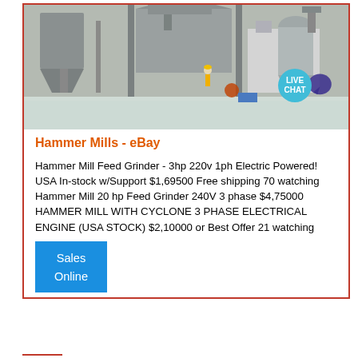[Figure (photo): Industrial factory interior with large equipment, hoppers, cyclones, dust collection system, and a worker visible in the background. A 'LIVE CHAT' speech bubble overlay is in the upper right corner.]
Hammer Mills - eBay
Hammer Mill Feed Grinder - 3hp 220v 1ph Electric Powered! USA In-stock w/Support $1,69500 Free shipping 70 watching Hammer Mill 20 hp Feed Grinder 240V 3 phase $4,75000 HAMMER MILL WITH CYCLONE 3 PHASE ELECTRICAL ENGINE (USA STOCK) $2,10000 or Best Offer 21 watching
Sales
Online